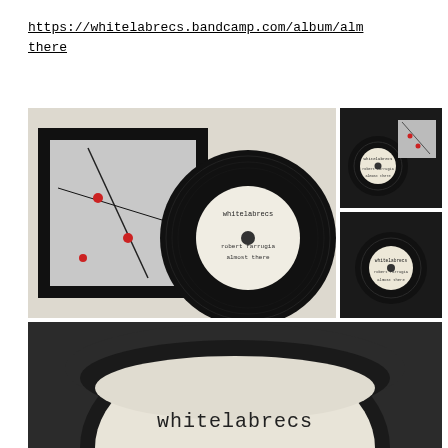https://whitelabrecs.bandcamp.com/album/alm
there
[Figure (photo): Large photo showing vinyl record and CD/album packaging for 'Robert Farrugia - Almost There' on whitelabrecs label, with album artwork showing pins on a surface]
[Figure (photo): Small photo top right showing the CD packaging from slightly different angle, black sleeve with CD and artwork insert]
[Figure (photo): Small photo bottom right showing the CD disc in black card sleeve close-up]
[Figure (photo): Large bottom photo showing close-up of vinyl/CD disc with 'whitelabrecs' text visible on label, in black card sleeve]